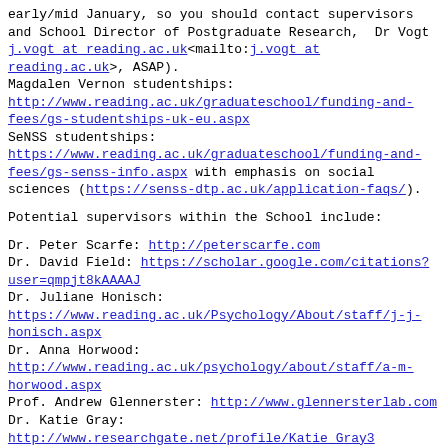early/mid January, so you should contact supervisors and School Director of Postgraduate Research, Dr Vogt j.vogt at reading.ac.uk<mailto:j.vogt at reading.ac.uk>, ASAP).
Magdalen Vernon studentships: http://www.reading.ac.uk/graduateschool/funding-and-fees/gs-studentships-uk-eu.aspx
SeNSS studentships: https://www.reading.ac.uk/graduateschool/funding-and-fees/gs-senss-info.aspx with emphasis on social sciences (https://senss-dtp.ac.uk/application-faqs/).
Potential supervisors within the School include:
Dr. Peter Scarfe: http://peterscarfe.com
Dr. David Field: https://scholar.google.com/citations?user=qmpjt8kAAAAJ
Dr. Juliane Honisch: https://www.reading.ac.uk/Psychology/About/staff/j-j-honisch.aspx
Dr. Anna Horwood: http://www.reading.ac.uk/psychology/about/staff/a-m-horwood.aspx
Prof. Andrew Glennerster: http://www.glennersterlab.com
Dr. Katie Gray: http://www.researchgate.net/profile/Katie_Gray3
Dr. Eugene McSorley: http://www.personal.rdg.ac.uk/~sxs04em/index.htm/Welcome
Prof. Patricia Riddell: http://www.reading.ac.uk/pcls/people/p-m-riddell.aspx